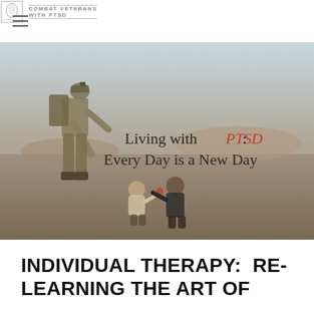COMBAT VETERANS WITH PTSD
[Figure (photo): A military soldier in full combat gear bending down to interact with two small children in an arid desert landscape. Text overlay reads: Living with PTSD: Every Day is a New Day]
INDIVIDUAL THERAPY:  RE-LEARNING THE ART OF